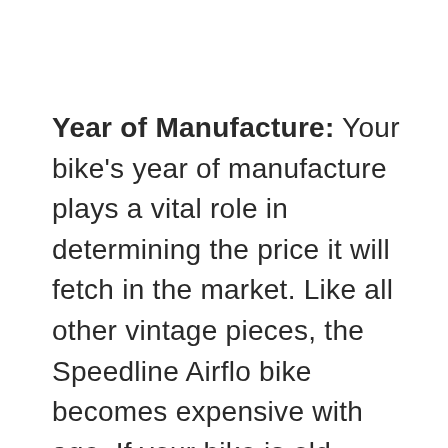Year of Manufacture: Your bike's year of manufacture plays a vital role in determining the price it will fetch in the market. Like all other vintage pieces, the Speedline Airflo bike becomes expensive with age. If your bike is old enough and other factors are positive, it might fetch you close to 1,000 USD.